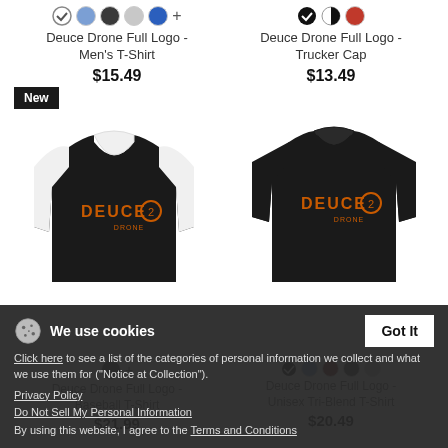[Figure (photo): Color swatches row 1 left: checked circle, blue-light, dark-gray, light-gray, blue, plus sign]
Deuce Drone Full Logo - Men's T-Shirt
$15.49
[Figure (photo): Color swatches row 1 right: checked black, half-black, red]
Deuce Drone Full Logo - Trucker Cap
$13.49
[Figure (photo): Left shirt: black and white baseball raglan with Deuce Drone orange logo. 'New' badge top left.]
[Figure (photo): Right shirt: black crew neck t-shirt with Deuce Drone orange logo]
Deuce Drone Full Logo - Baseball T-Shirt
$21.99
Deuce Drone Full Logo - Unisex Tri-Blend T-Shirt
$20.49
We use cookies
Click here to see a list of the categories of personal information we collect and what we use them for ("Notice at Collection").
Privacy Policy
Do Not Sell My Personal Information
By using this website, I agree to the Terms and Conditions